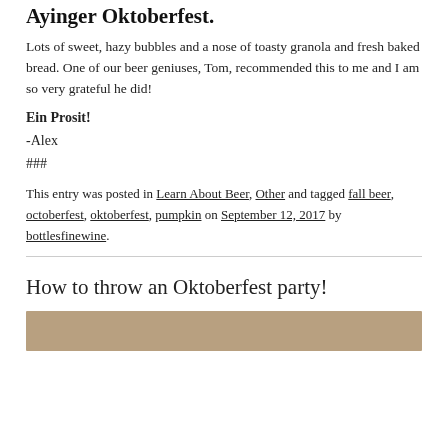Ayinger Oktoberfest.
Lots of sweet, hazy bubbles and a nose of toasty granola and fresh baked bread. One of our beer geniuses, Tom, recommended this to me and I am so very grateful he did!
Ein Prosit!
-Alex
###
This entry was posted in Learn About Beer, Other and tagged fall beer, octoberfest, oktoberfest, pumpkin on September 12, 2017 by bottlesfinewine.
How to throw an Oktoberfest party!
[Figure (photo): Bottom portion of a photo, likely showing people or items related to Oktoberfest]